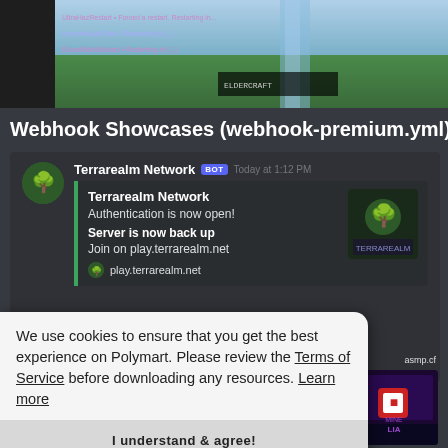[Figure (screenshot): Minecraft game screenshot with overlay text showing player actions and game UI]
Webhook Showcases (webhook-premium.yml)
[Figure (screenshot): Discord message embed from Terrarealm Network BOT showing authentication open and server back up notifications with play.terrarealm.net link]
We use cookies to ensure that you get the best experience on Polymart. Please review the Terms of Service before downloading any resources. Learn more
I understand & agree!